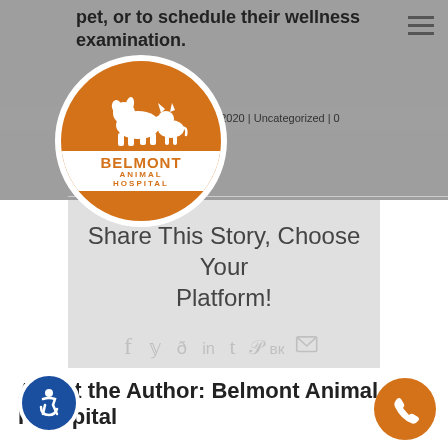pet, or to schedule their wellness examination.
spital | November 3rd, 2020 | Uncategorized | 0
[Figure (logo): Belmont Animal Hospital logo: orange circle with white silhouette of a dog and cat, white text band reading BELMONT ANIMAL HOSPITAL]
Share This Story, Choose Your Platform!
[Figure (infographic): Social media share icons: Facebook, Twitter, Reddit, LinkedIn, Tumblr, Pinterest, VK, Email]
About the Author: Belmont Animal Hospital
[Figure (illustration): Accessibility icon: blue circle with wheelchair user symbol]
[Figure (illustration): Phone icon: orange circle with white phone handset symbol]